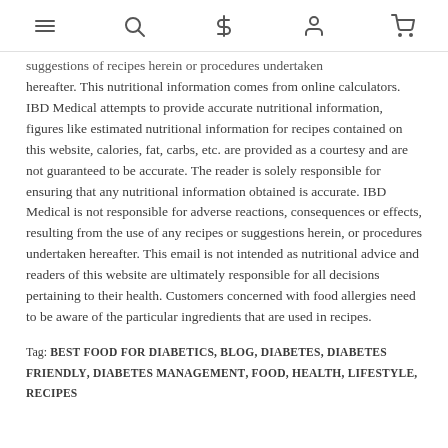[navigation icons: menu, search, dollar, account, cart]
suggestions of recipes herein or procedures undertaken hereafter. This nutritional information comes from online calculators. IBD Medical attempts to provide accurate nutritional information, figures like estimated nutritional information for recipes contained on this website, calories, fat, carbs, etc. are provided as a courtesy and are not guaranteed to be accurate. The reader is solely responsible for ensuring that any nutritional information obtained is accurate. IBD Medical is not responsible for adverse reactions, consequences or effects, resulting from the use of any recipes or suggestions herein, or procedures undertaken hereafter. This email is not intended as nutritional advice and readers of this website are ultimately responsible for all decisions pertaining to their health. Customers concerned with food allergies need to be aware of the particular ingredients that are used in recipes.
Tag: BEST FOOD FOR DIABETICS, BLOG, DIABETES, DIABETES FRIENDLY, DIABETES MANAGEMENT, FOOD, HEALTH, LIFESTYLE, RECIPES